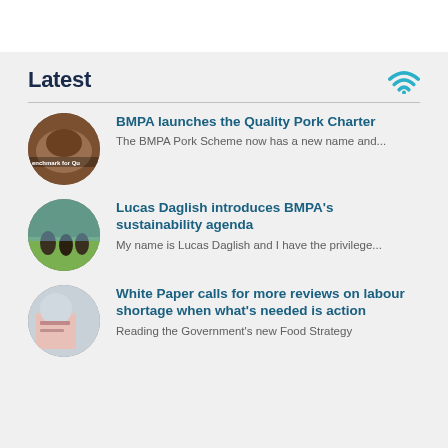Latest
BMPA launches the Quality Pork Charter — The BMPA Pork Scheme now has a new name and...
Lucas Daglish introduces BMPA's sustainability agenda — My name is Lucas Daglish and I have the privilege...
White Paper calls for more reviews on labour shortage when what's needed is action — Reading the Government's new Food Strategy